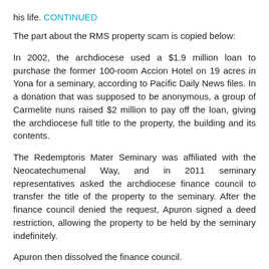his life. CONTINUED
The part about the RMS property scam is copied below:
In 2002, the archdiocese used a $1.9 million loan to purchase the former 100-room Accion Hotel on 19 acres in Yona for a seminary, according to Pacific Daily News files. In a donation that was supposed to be anonymous, a group of Carmelite nuns raised $2 million to pay off the loan, giving the archdiocese full title to the property, the building and its contents.
The Redemptoris Mater Seminary was affiliated with the Neocatechumenal Way, and in 2011 seminary representatives asked the archdiocese finance council to transfer the title of the property to the seminary. After the finance council denied the request, Apuron signed a deed restriction, allowing the property to be held by the seminary indefinitely.
Apuron then dissolved the finance council.